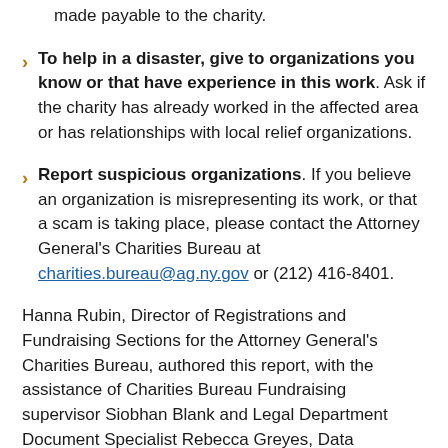Never give cash. Give your contribution by check made payable to the charity.
To help in a disaster, give to organizations you know or that have experience in this work. Ask if the charity has already worked in the affected area or has relationships with local relief organizations.
Report suspicious organizations. If you believe an organization is misrepresenting its work, or that a scam is taking place, please contact the Attorney General's Charities Bureau at charities.bureau@ag.ny.gov or (212) 416-8401.
Hanna Rubin, Director of Registrations and Fundraising Sections for the Attorney General's Charities Bureau, authored this report, with the assistance of Charities Bureau Fundraising supervisor Siobhan Blank and Legal Department Document Specialist Rebecca Greyes, Data